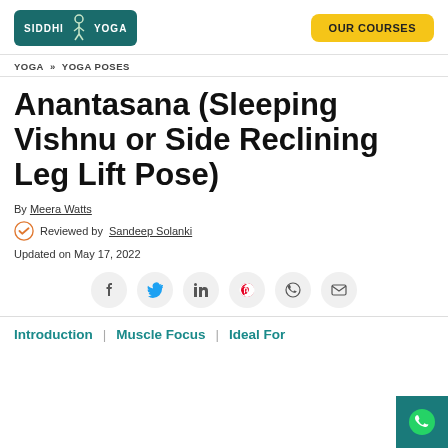[Figure (logo): Siddhi Yoga logo with teal background and meditating figure, plus yellow OUR COURSES button]
YOGA >> YOGA POSES
Anantasana (Sleeping Vishnu or Side Reclining Leg Lift Pose)
By Meera Watts
Reviewed by Sandeep Solanki
Updated on May 17, 2022
[Figure (infographic): Social sharing buttons: Facebook, Twitter, LinkedIn, Pinterest, WhatsApp, Email]
Introduction | Muscle Focus | Ideal For